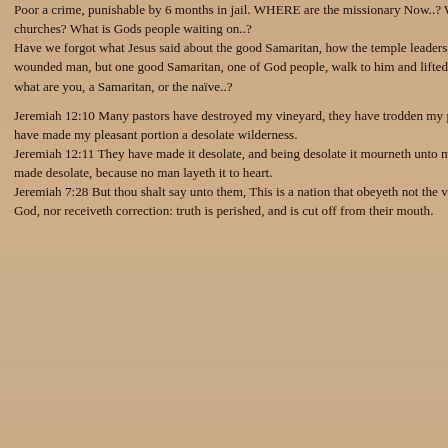Poor a crime, punishable by 6 months in jail. WHERE are the missionary Now..? Where are' man churches? What is Gods people waiting on..?
Have we forgot what Jesus said about the good Samaritan, how the temple leaders walk around the wounded man, but one good Samaritan, one of God people, walk to him and lifted him up. So I ask you, what are you, a Samaritan, or the naïve..?

Jeremiah 12:10 Many pastors have destroyed my vineyard, they have trodden my portion under foot, they have made my pleasant portion a desolate wilderness.
    Jeremiah 12:11 They have made it desolate, and being desolate it mourneth unto me; the whole land is made desolate, because no man layeth it to heart.
    Jeremiah 7:28 But thou shalt say unto them, This is a nation that obeyeth not the voice of the Lord their God, nor receiveth correction: truth is perished, and is cut off from their mouth.
[Figure (illustration): Background image showing a dramatic stormy sky with red and orange clouds over dark turbulent ocean waves with rocks in the foreground.]